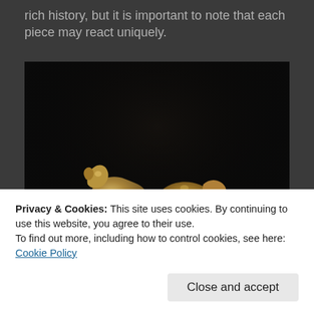rich history, but it is important to note that each piece may react uniquely.
[Figure (photo): Bronze sculpture of two animals (wolves or dogs) in motion, mounted on a wooden oval base, photographed against a dark/black background.]
Privacy & Cookies: This site uses cookies. By continuing to use this website, you agree to their use.
To find out more, including how to control cookies, see here: Cookie Policy
Close and accept